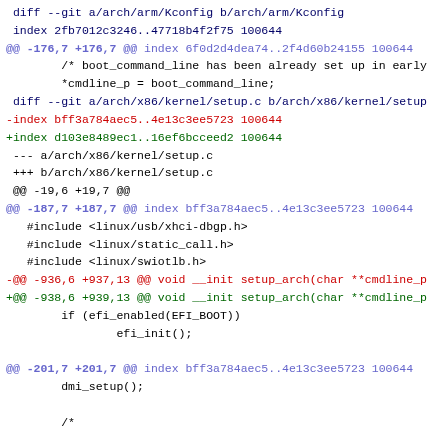diff --git a/arch/arm/Kconfig b/arch/arm/Kconfig
index 2fb7012c3246..47718b4f2f75 100644
@@ -176,7 +176,7 @@ index 6f0d2d4dea74..2f4d60b24155 100644
        /* boot_command_line has been already set up in early
        *cmdline_p = boot_command_line;
 diff --git a/arch/x86/kernel/setup.c b/arch/x86/kernel/setup
-index bff3a784aec5..4e13c3ee5723 100644
+index d103e8489ec1..16ef6bcceed2 100644
 --- a/arch/x86/kernel/setup.c
 +++ b/arch/x86/kernel/setup.c
 @@ -19,6 +19,7 @@
@@ -187,7 +187,7 @@ index bff3a784aec5..4e13c3ee5723 100644
   #include <linux/usb/xhci-dbgp.h>
   #include <linux/static_call.h>
   #include <linux/swiotlb.h>
-@@ -936,6 +937,13 @@ void __init setup_arch(char **cmdline_p
+@@ -938,6 +939,13 @@ void __init setup_arch(char **cmdline_p
        if (efi_enabled(EFI_BOOT))
                efi_init();

@@ -201,7 +201,7 @@ index bff3a784aec5..4e13c3ee5723 100644
        dmi_setup();

        /*